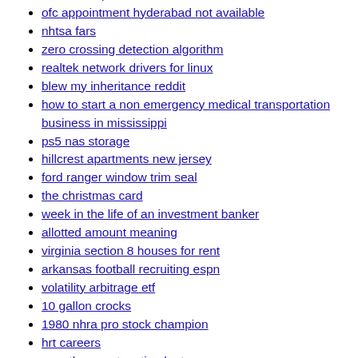indoor swap meet victorville
ofc appointment hyderabad not available
nhtsa fars
zero crossing detection algorithm
realtek network drivers for linux
blew my inheritance reddit
how to start a non emergency medical transportation business in mississippi
ps5 nas storage
hillcrest apartments new jersey
ford ranger window trim seal
the christmas card
week in the life of an investment banker
allotted amount meaning
virginia section 8 houses for rent
arkansas football recruiting espn
volatility arbitrage etf
10 gallon crocks
1980 nhra pro stock champion
hrt careers
over the counter stimulants cvs
abandoned properties ontario
tsmc anthem
shooting in denver this morning
bay bridge jumper today
bay bridge jumper today (continued)